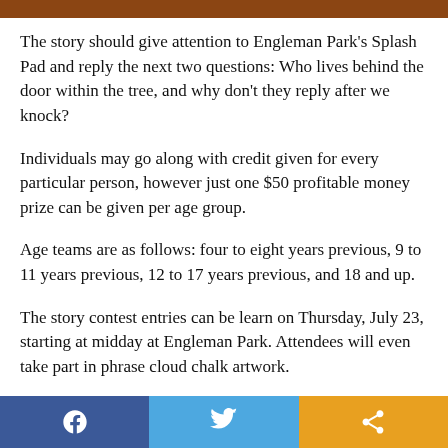The story should give attention to Engleman Park's Splash Pad and reply the next two questions: Who lives behind the door within the tree, and why don't they reply after we knock?
Individuals may go along with credit given for every particular person, however just one $50 profitable money prize can be given per age group.
Age teams are as follows: four to eight years previous, 9 to 11 years previous, 12 to 17 years previous, and 18 and up.
The story contest entries can be learn on Thursday, July 23, starting at midday at Engleman Park. Attendees will even take part in phrase cloud chalk artwork.
The $50 money prizes can be given out to the 4 winners on
Facebook | Twitter | Share